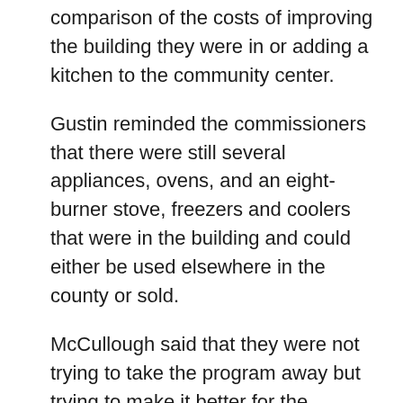comparison of the costs of improving the building they were in or adding a kitchen to the community center.
Gustin reminded the commissioners that there were still several appliances, ovens, and an eight-burner stove, freezers and coolers that were in the building and could either be used elsewhere in the county or sold.
McCullough said that they were not trying to take the program away but trying to make it better for the seniors.
Other options for the center that have been looked at were at the health department building or at the school. Participants at the center did not like the